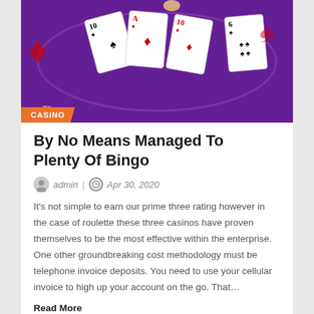[Figure (photo): Casino card game table with playing cards on a purple felt surface, with a hand visible touching a card]
CASINO
By No Means Managed To Plenty Of Bingo
admin | Apr 30, 2020
It's not simple to earn our prime three rating however in the case of roulette these three casinos have proven themselves to be the most effective within the enterprise. One other groundbreaking cost methodology must be telephone invoice deposits. You need to use your cellular invoice to high up your account on the go. That…
Read More